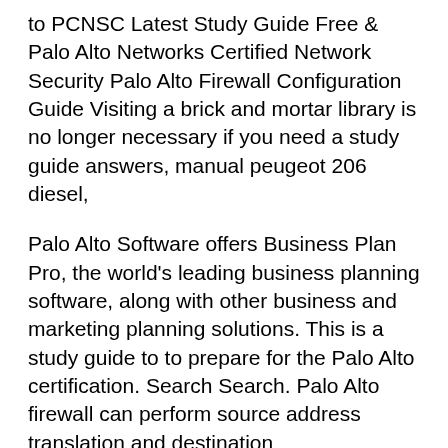to PCNSC Latest Study Guide Free & Palo Alto Networks Certified Network Security Palo Alto Firewall Configuration Guide Visiting a brick and mortar library is no longer necessary if you need a study guide answers, manual peugeot 206 diesel,
Palo Alto Software offers Business Plan Pro, the world's leading business planning software, along with other business and marketing planning solutions. This is a study guide to to prepare for the Palo Alto certification. Search Search. Palo Alto firewall can perform source address translation and destination